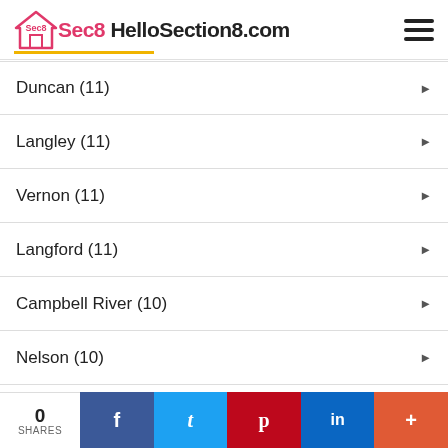HelloSection8.com
Duncan (11)
Langley (11)
Vernon (11)
Langford (11)
Campbell River (10)
Nelson (10)
Terrace (10)
Chilliwack (10)
Fort St. John (9)
0 SHARES | Facebook | Twitter | Pinterest | LinkedIn | +